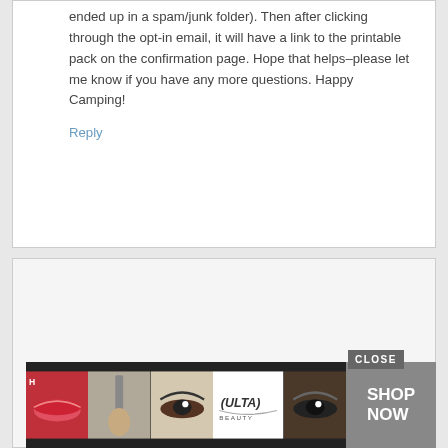ended up in a spam/junk folder). Then after clicking through the opt-in email, it will have a link to the printable pack on the confirmation page. Hope that helps–please let me know if you have any more questions. Happy Camping!
Reply
Eliza Beck says
October 12, 2017 at 9:16 pm
[Figure (other): Advertisement banner with makeup/beauty images, ULTA logo, and SHOP NOW button, with CLOSE button overlay]